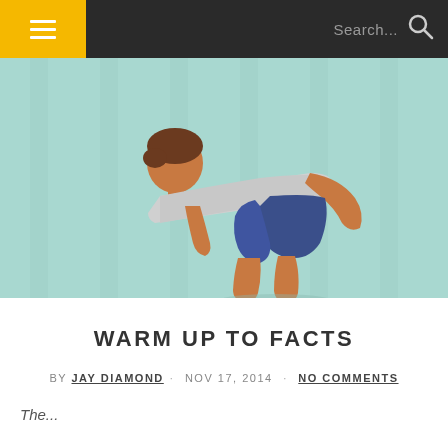Navigation bar with hamburger menu and search
[Figure (illustration): Illustrated figure of a man bending forward at the waist in a toe-touch/warm-up stretch pose, wearing a grey shirt and blue shorts, against a pale teal background with vertical stripes]
WARM UP TO FACTS
BY JAY DIAMOND · NOV 17, 2014 · NO COMMENTS
The...